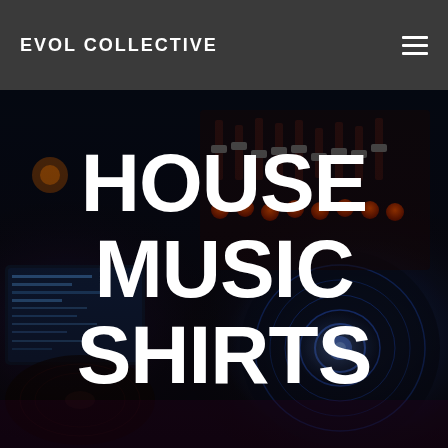EVOL COLLECTIVE
[Figure (photo): DJ equipment / turntables and mixer with colorful lighting in reds, oranges, and blues. Background image for hero section with text overlay reading HOUSE MUSIC SHIRTS.]
HOUSE MUSIC SHIRTS